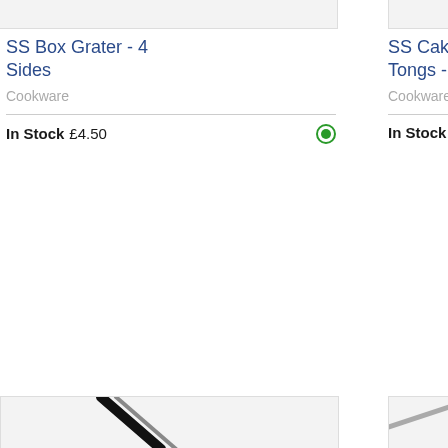[Figure (photo): Product image placeholder for SS Box Grater - 4 Sides, light gray rectangle]
SS Box Grater - 4 Sides
Cookware
In Stock £4.50
[Figure (photo): Product image placeholder for SS Cake / Sandwich Tongs - 18.5cm /22, light gray rectangle partially visible]
SS Cake / Sandwich Tongs - 18.5cm /22
Cookware
In Stock £2.50
[Figure (photo): Bottom left product image showing a dark handled kitchen utensil (tongs or similar), partially visible]
[Figure (photo): Bottom right product image partially visible showing a silver kitchen utensil]